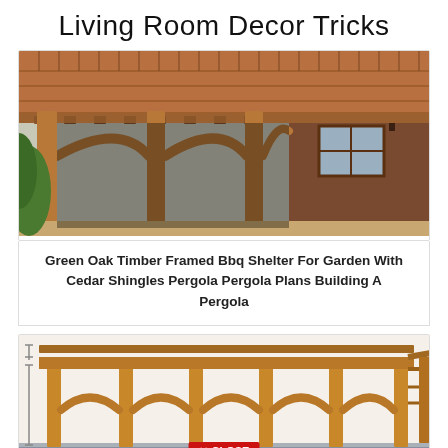Living Room Decor Tricks
[Figure (photo): Green oak timber framed carport/BBQ shelter with cedar shingle roof attached to a brick house, with arched supports and lush greenery on the left.]
Green Oak Timber Framed Bbq Shelter For Garden With Cedar Shingles Pergola Pergola Plans Building A Pergola
[Figure (illustration): 3D rendering/diagram of a wooden pergola structure with multiple bays and arched timber supports on a concrete base, with a red CLOSE button overlay and partial red text at the bottom.]